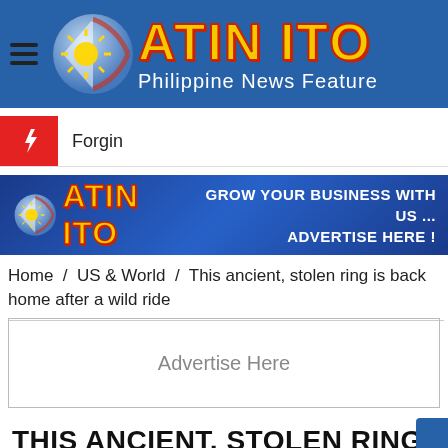ATIN ITO - Philippine News Feature
Forgin
[Figure (infographic): Atin Ito advertisement banner: Grow your business with us... Advertise here!]
Home / US & World / This ancient, stolen ring is back home after a wild ride
Advertise Here
THIS ANCIENT, STOLEN RING IS BACK HOME AFTER